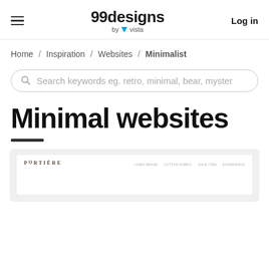99designs by vista — Log in
Home / Inspiration / Websites / Minimalist
Search keywords eg. retro, minimal, bear, myster
Minimal websites
[Figure (screenshot): Screenshot preview of a minimalist website called Portiere with a white background and navigation items on the right side]